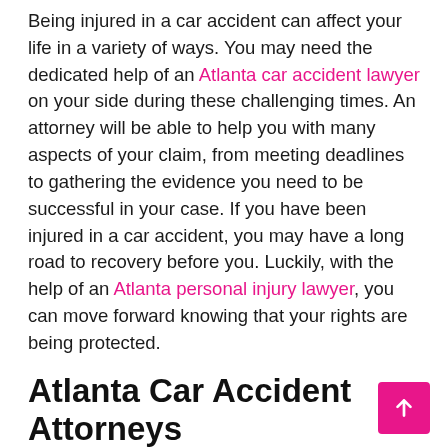Being injured in a car accident can affect your life in a variety of ways. You may need the dedicated help of an Atlanta car accident lawyer on your side during these challenging times. An attorney will be able to help you with many aspects of your claim, from meeting deadlines to gathering the evidence you need to be successful in your case. If you have been injured in a car accident, you may have a long road to recovery before you. Luckily, with the help of an Atlanta personal injury lawyer, you can move forward knowing that your rights are being protected.
Atlanta Car Accident Attorneys